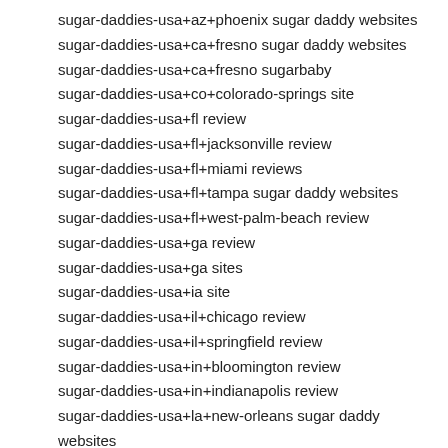sugar-daddies-usa+az+phoenix sugar daddy websites
sugar-daddies-usa+ca+fresno sugar daddy websites
sugar-daddies-usa+ca+fresno sugarbaby
sugar-daddies-usa+co+colorado-springs site
sugar-daddies-usa+fl review
sugar-daddies-usa+fl+jacksonville review
sugar-daddies-usa+fl+miami reviews
sugar-daddies-usa+fl+tampa sugar daddy websites
sugar-daddies-usa+fl+west-palm-beach review
sugar-daddies-usa+ga review
sugar-daddies-usa+ga sites
sugar-daddies-usa+ia site
sugar-daddies-usa+il+chicago review
sugar-daddies-usa+il+springfield review
sugar-daddies-usa+in+bloomington review
sugar-daddies-usa+in+indianapolis review
sugar-daddies-usa+la+new-orleans sugar daddy websites